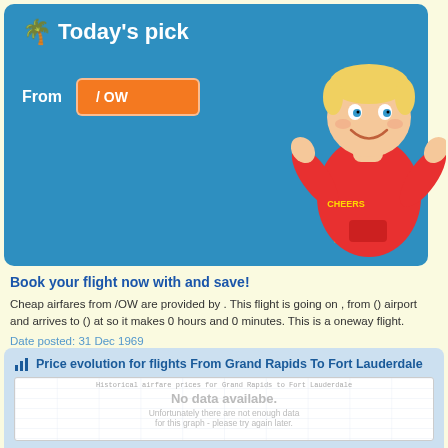Today's pick
From /OW
details ▶
Book your flight now with and save!
Cheap airfares from /OW are provided by . This flight is going on , from () airport and arrives to () at so it makes 0 hours and 0 minutes. This is a oneway flight.
Date posted: 31 Dec 1969
Price evolution for flights From Grand Rapids To Fort Lauderdale
[Figure (other): Empty chart area showing 'No data availabe. Unfortunately there are not enough data for this graph - please try again later.' with grid lines. Title: Historical airfare prices for Grand Rapids to Fort Lauderdale]